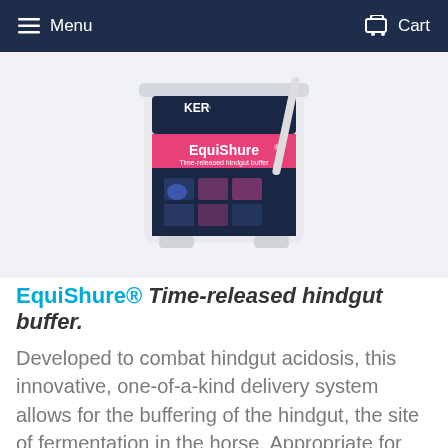Menu   Cart
[Figure (photo): White plastic bucket with EquiShure branding — pink and dark navy label reading 'EquiShure Time-released hindgut buffer' with KER logo at top, a white scoop visible at the right side]
EquiShure® Time-released hindgut buffer.
Developed to combat hindgut acidosis, this innovative, one-of-a-kind delivery system allows for the buffering of the hindgut, the site of fermentation in the horse. Appropriate for horses displaying certain signs such as reduced appetite, chronic mild to moderate colic of unexplained origin, poor